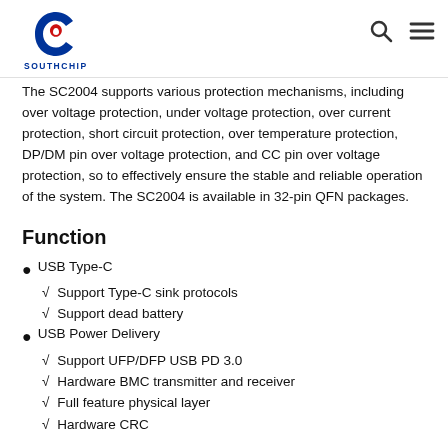SOUTHCHIP logo and navigation
The SC2004 supports various protection mechanisms, including over voltage protection, under voltage protection, over current protection, short circuit protection, over temperature protection, DP/DM pin over voltage protection, and CC pin over voltage protection, so to effectively ensure the stable and reliable operation of the system. The SC2004 is available in 32-pin QFN packages.
Function
USB Type-C
√ Support Type-C sink protocols
√ Support dead battery
USB Power Delivery
√ Support UFP/DFP USB PD 3.0
√ Hardware BMC transmitter and receiver
√ Full feature physical layer
√ Hardware CRC